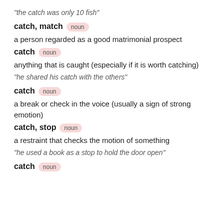"the catch was only 10 fish"
catch, match  noun
a person regarded as a good matrimonial prospect
catch  noun
anything that is caught (especially if it is worth catching)
"he shared his catch with the others"
catch  noun
a break or check in the voice (usually a sign of strong emotion)
catch, stop  noun
a restraint that checks the motion of something
"he used a book as a stop to hold the door open"
catch  noun